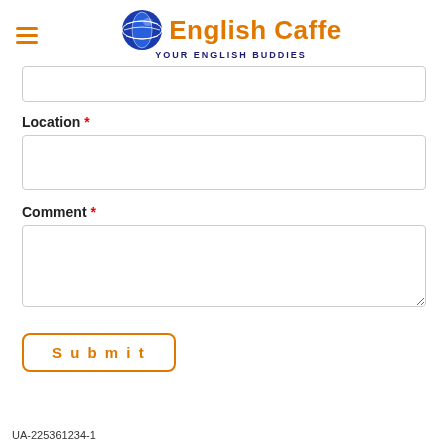English Caffe — YOUR ENGLISH BUDDIES
Location *
Comment *
Submit
UA-225361234-1